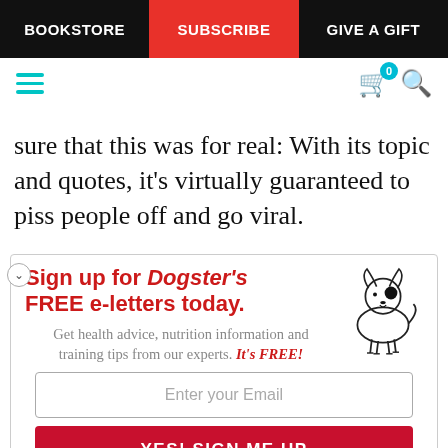BOOKSTORE | SUBSCRIBE | GIVE A GIFT
sure that this was for real: With its topic and quotes, it's virtually guaranteed to piss people off and go viral.
[Figure (infographic): Sign up for Dogster's FREE e-letters today. Get health advice, nutrition information and training tips from our experts. It's FREE! With cartoon dog illustration, email input field, and YES! SIGN ME UP button.]